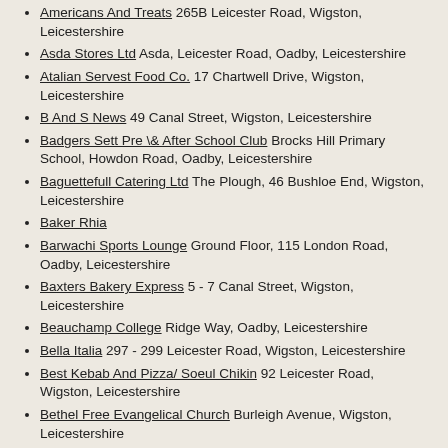Americans And Treats  265B Leicester Road, Wigston, Leicestershire
Asda Stores Ltd  Asda, Leicester Road, Oadby, Leicestershire
Atalian Servest Food Co.  17 Chartwell Drive, Wigston, Leicestershire
B And S News  49 Canal Street, Wigston, Leicestershire
Badgers Sett Pre \& After School Club  Brocks Hill Primary School, Howdon Road, Oadby, Leicestershire
Baguettefull Catering Ltd  The Plough, 46 Bushloe End, Wigston, Leicestershire
Baker Rhia
Barwachi Sports Lounge  Ground Floor, 115 London Road, Oadby, Leicestershire
Baxters Bakery Express  5 - 7 Canal Street, Wigston, Leicestershire
Beauchamp College  Ridge Way, Oadby, Leicestershire
Bella Italia  297 - 299 Leicester Road, Wigston, Leicestershire
Best Kebab And Pizza/ Soeul Chikin  92 Leicester Road, Wigston, Leicestershire
Bethel Free Evangelical Church  Burleigh Avenue, Wigston, Leicestershire
Bibis Dhaba  29 London Road, Oadby, Leicestershire
Big China  35 Blaby Road, Wigston, Leicestershire
Birkett House School  Birkett House, Station Road, Wigston, Leicestershire
Blaze N Grill  79 The Parade, Oadby, Leicestershire